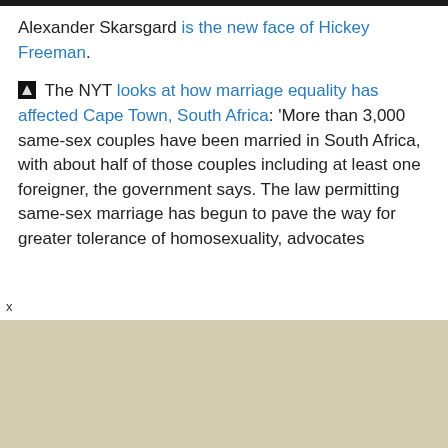[Figure (photo): Partial image strip at the top of the page, dark/black content]
Alexander Skarsgard is the new face of Hickey Freeman.
The NYT looks at how marriage equality has affected Cape Town, South Africa: 'More than 3,000 same-sex couples have been married in South Africa, with about half of those couples including at least one foreigner, the government says. The law permitting same-sex marriage has begun to pave the way for greater tolerance of homosexuality, advocates